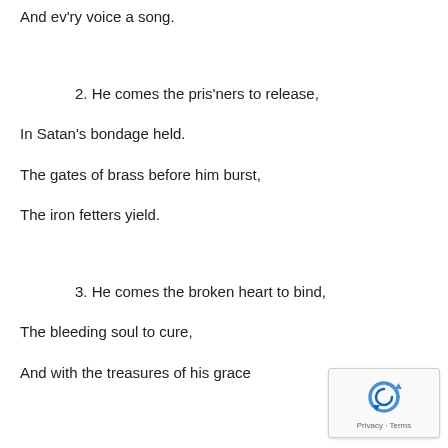And ev'ry voice a song.
2. He comes the pris'ners to release,
In Satan's bondage held.
The gates of brass before him burst,
The iron fetters yield.
3. He comes the broken heart to bind,
The bleeding soul to cure,
And with the treasures of his grace
[Figure (logo): reCAPTCHA widget with rotating arrows logo and 'Privacy - Terms' text]